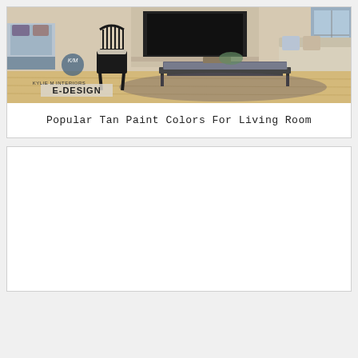[Figure (photo): Interior living room photo showing a black Windsor chair near a fireplace, glass coffee table with decorative items, beige sofa with pillows, light hardwood floor, and a watermark reading 'KYLIE M INTERIORS E-DESIGN']
Popular Tan Paint Colors For Living Room
[Figure (photo): Blank white card placeholder area, empty content]